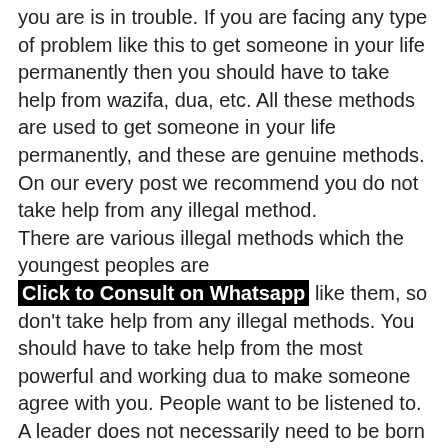you are is in trouble. If you are facing any type of problem like this to get someone in your life permanently then you should have to take help from wazifa, dua, etc. All these methods are used to get someone in your life permanently, and these are genuine methods. On our every post we recommend you do not take help from any illegal method.
There are various illegal methods which the youngest peoples are [Click to Consult on Whatsapp] like them, so don't take help from any illegal methods. You should have to take help from the most powerful and working dua to make someone agree with you. People want to be listened to. A leader does not necessarily need to be born with that quality, but that does not mean that you cannot lead.
Dua to make husband agree